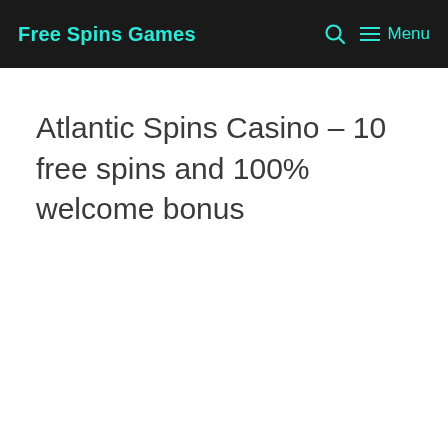Free Spins Games    Menu
Atlantic Spins Casino – 10 free spins and 100% welcome bonus